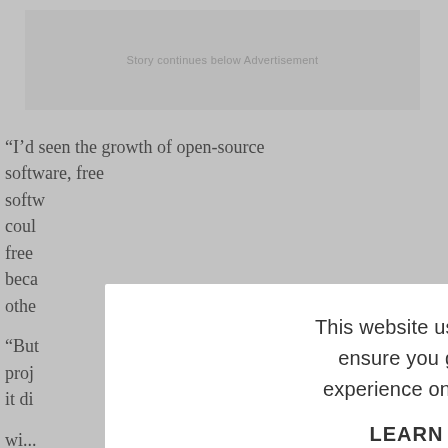[Figure (screenshot): Advertisement banner placeholder with text 'Story continues below Advertisement' on a light grey background]
"I'd seen the growth of open-source software, free softw... coul... free beca... othe...
"But... proj... it di...
wi...
[Figure (screenshot): Cookie consent modal dialog with close X button, message 'This website uses cookies to ensure you get the best experience on our website.', 'LEARN MORE.' text in bold, and 'ACCEPT COOKIES' button in light blue]